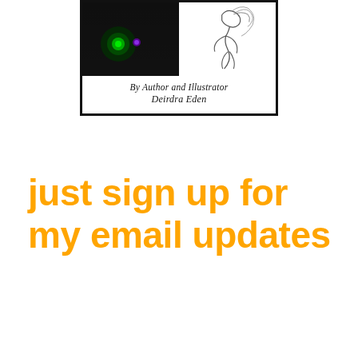[Figure (illustration): Book cover image showing two panels: left panel with dark background with green and purple glowing elements, right panel with a sketch/line drawing of a figure. Below the images text reads 'By Author and Illustrator Deirdra Eden' in an ornate gothic/italic font, all within a black border box.]
just sign up for my email updates